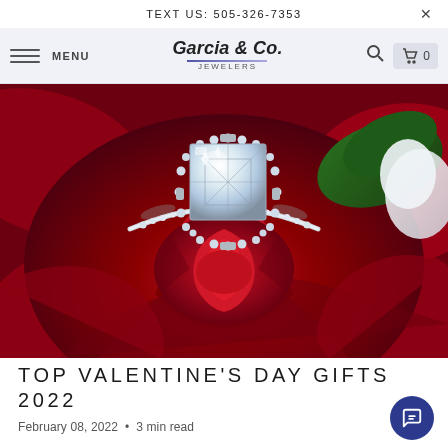TEXT US: 505-326-7353
Garcia & Co. JEWELERS — MENU — search — cart 0
[Figure (photo): Close-up photo of a large diamond halo engagement ring resting on a red rose bloom, with white flower visible in background]
TOP VALENTINE'S DAY GIFTS 2022
February 08, 2022  •  3 min read